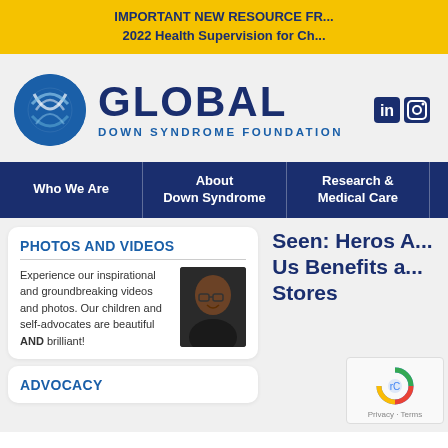IMPORTANT NEW RESOURCE FROM THE AAP: 2022 Health Supervision for Ch...
[Figure (logo): Global Down Syndrome Foundation logo with circular DNA icon and bold GLOBAL text above DOWN SYNDROME FOUNDATION subtitle]
Who We Are | About Down Syndrome | Research & Medical Care
PHOTOS AND VIDEOS
Experience our inspirational and groundbreaking videos and photos. Our children and self-advocates are beautiful AND brilliant!
[Figure (photo): Photo of a smiling person wearing glasses against a dark background]
ADVOCACY
Seen: Heros Among Us Benefits at Stores